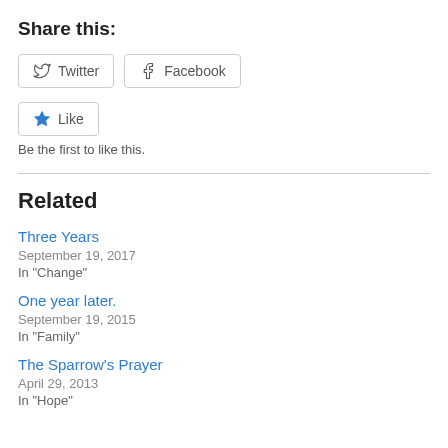Share this:
Twitter  Facebook
Like
Be the first to like this.
Related
Three Years
September 19, 2017
In "Change"
One year later.
September 19, 2015
In "Family"
The Sparrow's Prayer
April 29, 2013
In "Hope"